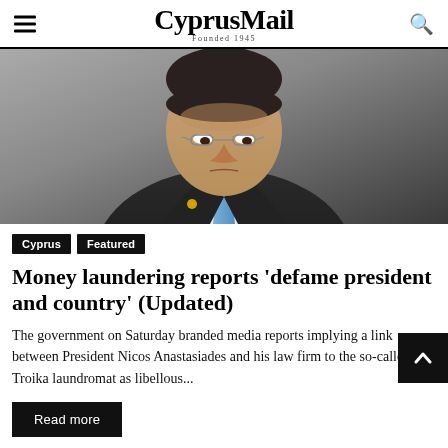CyprusMail — Founded 1945
[Figure (photo): Close-up photo of a man in a dark suit with a blue tie, head bowed, looking downward. Identified as President Nicos Anastasiades.]
Cyprus   Featured
Money laundering reports 'defame president and country' (Updated)
The government on Saturday branded media reports implying a link between President Nicos Anastasiades and his law firm to the so-called Troika laundromat as libellous...
Read more